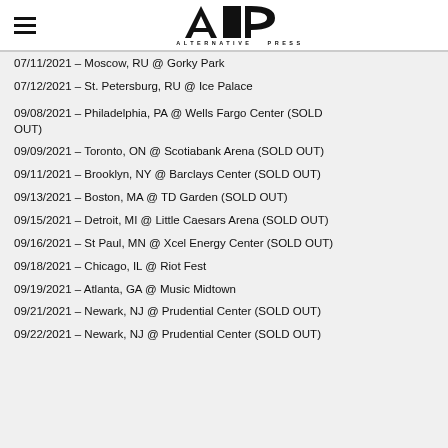ALTERNATIVE PRESS
07/11/2021 – Moscow, RU @ Gorky Park
07/12/2021 – St. Petersburg, RU @ Ice Palace
09/08/2021 – Philadelphia, PA @ Wells Fargo Center (SOLD OUT)
09/09/2021 – Toronto, ON @ Scotiabank Arena (SOLD OUT)
09/11/2021 – Brooklyn, NY @ Barclays Center (SOLD OUT)
09/13/2021 – Boston, MA @ TD Garden (SOLD OUT)
09/15/2021 – Detroit, MI @ Little Caesars Arena (SOLD OUT)
09/16/2021 – St Paul, MN @ Xcel Energy Center (SOLD OUT)
09/18/2021 – Chicago, IL @ Riot Fest
09/19/2021 – Atlanta, GA @ Music Midtown
09/21/2021 – Newark, NJ @ Prudential Center (SOLD OUT)
09/22/2021 – Newark, NJ @ Prudential Center (SOLD OUT)